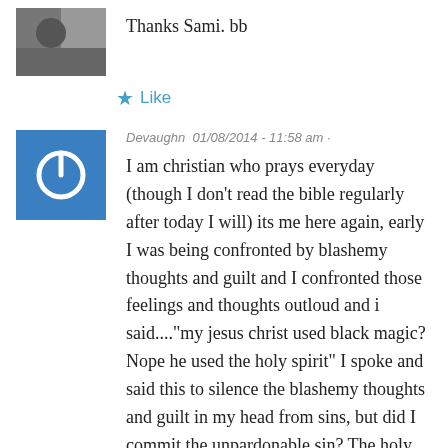Thanks Sami. bb
Like
Devaughn · 01/08/2014 - 11:58 am ·
I am christian who prays everyday (though I don't read the bible regularly after today I will) its me here again, early I was being confronted by blashemy thoughts and guilt and I confronted those feelings and thoughts outloud and i said...."my jesus christ used black magic? Nope he used the holy spirit" I spoke and said this to silence the blashemy thoughts and guilt in my head from sins, but did I commit the unpardonable sin? The holy spirit has been working and turning inside me for 3days straight/or it may be my own guilt!!! I have repented many many times, also I asked jesus to come into my life and I recognized him as my lord and savior as a small child and had recently devoted my self to god